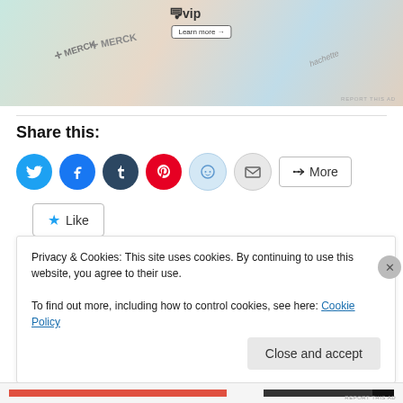[Figure (photo): Advertisement banner showing WordPress VIP logo with 'Learn more' button and Merck and Hachette brand logos on a colorful background with a 'REPORT THIS AD' label]
Share this:
[Figure (infographic): Row of social share buttons: Twitter (blue), Facebook (blue), Tumblr (dark blue), Pinterest (red), Reddit (light blue), Email (gray), and a 'More' button]
[Figure (infographic): Like button with a star icon and 'Like' text]
Be the first to like this.
Privacy & Cookies: This site uses cookies. By continuing to use this website, you agree to their use.
To find out more, including how to control cookies, see here: Cookie Policy